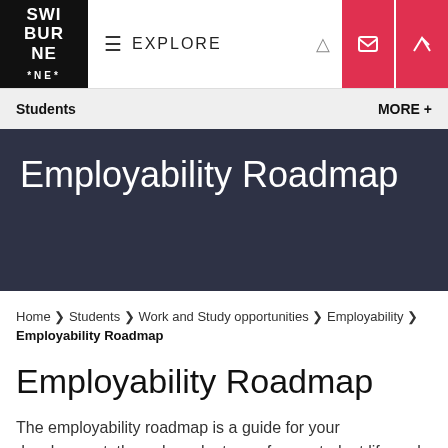[Figure (logo): Swinburne University logo — white text on black background reading SWI / BUR / NE with asterisks]
≡ EXPLORE
Students
MORE +
Employability Roadmap
Home ❯ Students ❯ Work and Study opportunities ❯ Employability ❯ Employability Roadmap
Employability Roadmap
The employability roadmap is a guide for your development, through each stage of your student life cycle